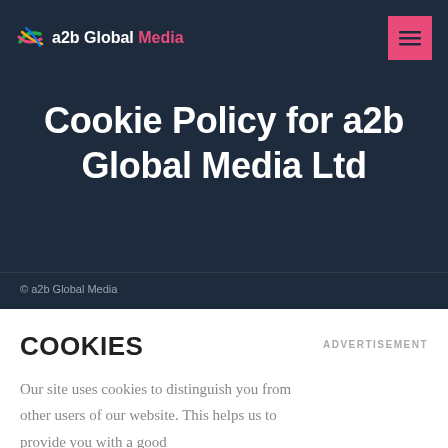a2b Global Media
Cookie Policy for a2b Global Media Ltd
© a2b Global Media
COOKIES
Our site uses cookies to distinguish you from other users of our website. This helps us to provide you with a good
ADVERTISEMENT